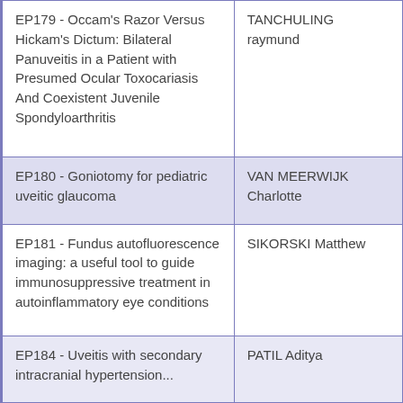| EP179 - Occam's Razor Versus Hickam's Dictum: Bilateral Panuveitis in a Patient with Presumed Ocular Toxocariasis And Coexistent Juvenile Spondyloarthritis | TANCHULING raymund |
| EP180 - Goniotomy for pediatric uveitic glaucoma | VAN MEERWIJK Charlotte |
| EP181 - Fundus autofluorescence imaging: a useful tool to guide immunosuppressive treatment in autoinflammatory eye conditions | SIKORSKI Matthew |
| EP184 - Uveitis with secondary intracranial hypertension... | PATIL Aditya |